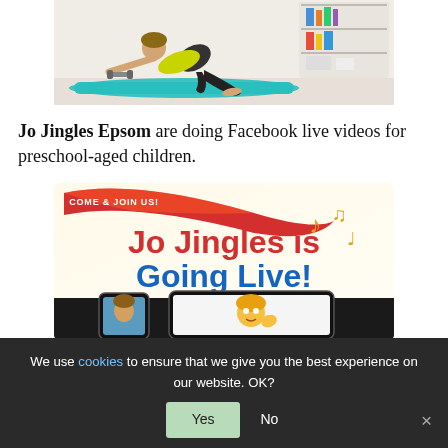[Figure (photo): Photo of a pregnant woman in a yellow top doing a yoga/exercise pose on a teal mat in a bright room with white shelving in the background.]
Jo Jingles Epsom are doing Facebook live videos for preschool-aged children.
[Figure (illustration): Jo Jingles promotional banner image reading 'Come & Join Us! Jo Jingles is Going Live!' with musical notes, a smartphone and tablet showing children, on a warm background.]
We use cookies to ensure that we give you the best experience on our website. OK?